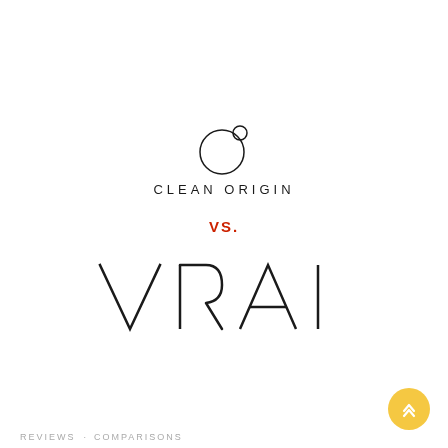[Figure (logo): Clean Origin logo: a stylized circle with a small circle, above the text CLEAN ORIGIN in spaced capital letters]
vs.
[Figure (logo): VRAI brand name in large thin capital letters]
REVIEWS · COMPARISONS